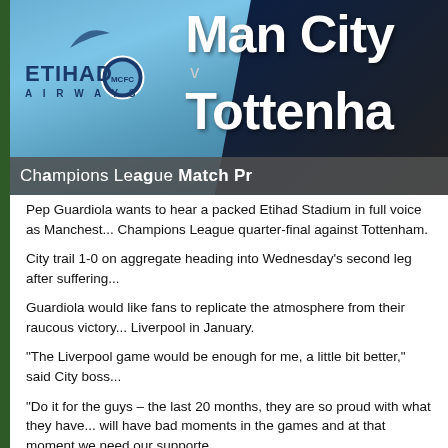[Figure (photo): Man City v Tottenham Champions League Match Preview banner image showing a Manchester City player in light blue ETIHAD AIRWAYS jersey with overlaid text 'Man City v Tottenham' and subtitle 'Champions League Match Pr...']
Pep Guardiola wants to hear a packed Etihad Stadium in full voice as Manches... Champions League quarter-final against Tottenham.
City trail 1-0 on aggregate heading into Wednesday's second leg after suffering...
Guardiola would like fans to replicate the atmosphere from their raucous victory... Liverpool in January.
“The Liverpool game would be enough for me, a little bit better,” said City boss...
“Do it for the guys – the last 20 months, they are so proud with what they have... will have bad moments in the games and at that moment we need our supporte...
“At this stage, without supporters, we cannot go through. I’m expecting.
“I’m really curious to see how our fans are going to react tomorrow, really curio...